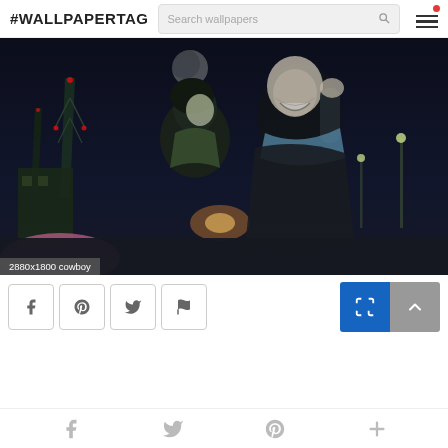#WALLPAPERTAG
[Figure (screenshot): Anime illustration showing two characters from Cowboy Bebop in a dark nighttime scene. A label at the bottom left reads '2880x1800 cowboy'.]
2880x1800 cowboy
[Figure (infographic): Social sharing buttons: Facebook, Pinterest, Twitter, Flag. On the right: a blue square button and a gray back-to-top arrow button.]
f  Twitter  P  +